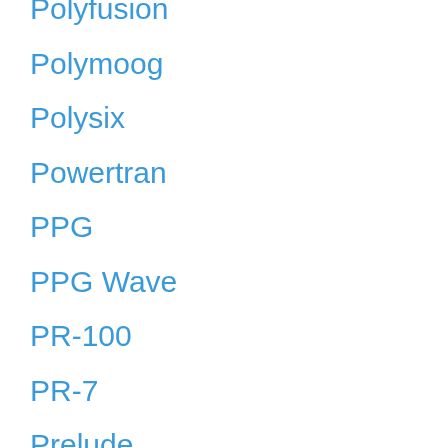Polyfusion
Polymoog
Polysix
Powertran
PPG
PPG Wave
PR-100
PR-7
Prelude
Pro DGX
Pro One
Pro Soloist
Pro-8